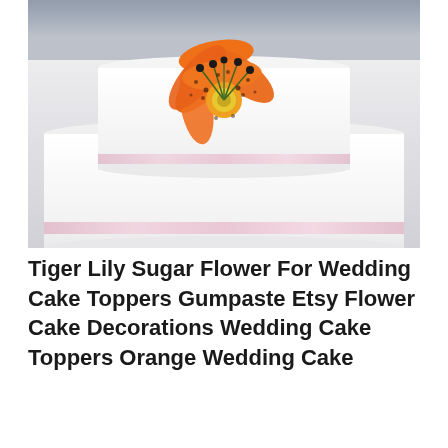[Figure (photo): A white tiered wedding cake with pink/rose glitter ribbon trim on each tier, topped with a large orange tiger lily sugar flower with black stamens and a yellow center, photographed against a blurred background.]
Tiger Lily Sugar Flower For Wedding Cake Toppers Gumpaste Etsy Flower Cake Decorations Wedding Cake Toppers Orange Wedding Cake